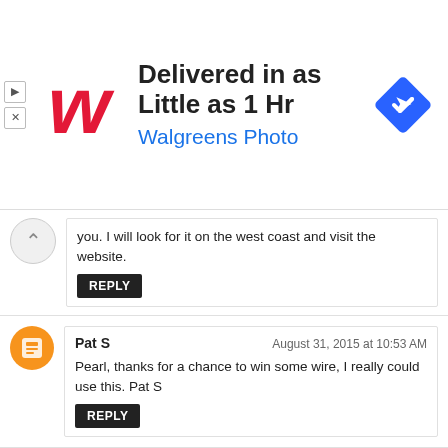[Figure (other): Walgreens Photo advertisement banner: 'Delivered in as Little as 1 Hr' with Walgreens logo and navigation arrow icon]
you. I will look for it on the west coast and visit the website.
Reply
Pat S — August 31, 2015 at 10:53 AM
Pearl, thanks for a chance to win some wire, I really could use this. Pat S
Reply
Jesse — August 31, 2015 at 11:06 AM
Love parawire. I really like all the colors, easy of use in wire wrapping gemstone & making my own chains. I really like the large spools as I use a lot of wire. Jesse Nyzosa Designs Creation in Wire & Stone. nyzosadesigns@outlook.com
Reply